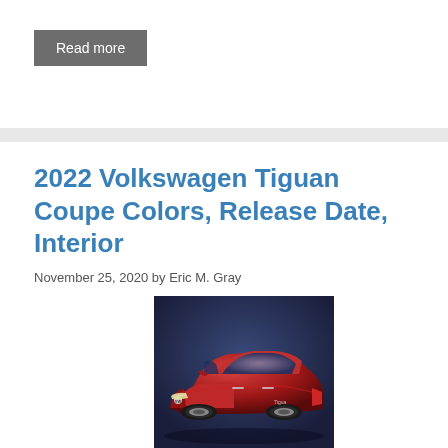Read more
2022 Volkswagen Tiguan Coupe Colors, Release Date, Interior
November 25, 2020 by Eric M. Gray
[Figure (photo): Red 2022 Volkswagen Tiguan Coupe photographed from front-left angle against a dark blue background]